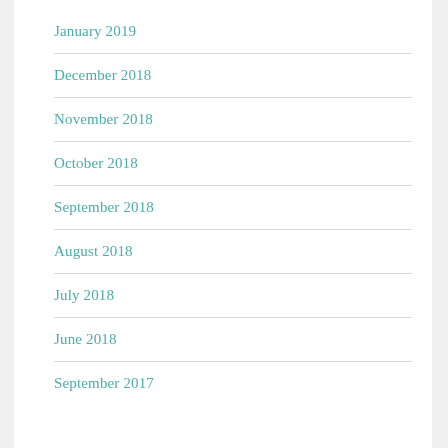January 2019
December 2018
November 2018
October 2018
September 2018
August 2018
July 2018
June 2018
September 2017